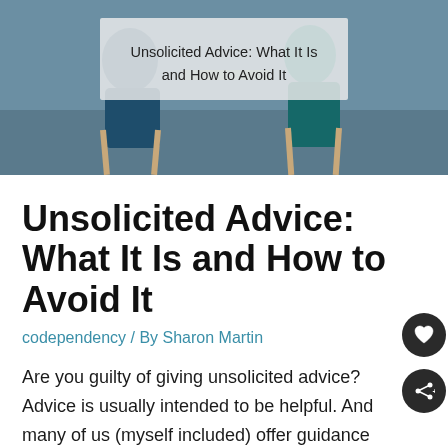[Figure (photo): Two people sitting in chairs in a room, partially visible, with a semi-transparent overlay box showing the article title.]
Unsolicited Advice: What It Is and How to Avoid It
codependency / By Sharon Martin
Are you guilty of giving unsolicited advice? Advice is usually intended to be helpful. And many of us (myself included) offer guidance and suggestions, even tell others what they should do, without being asked.  Regardless of